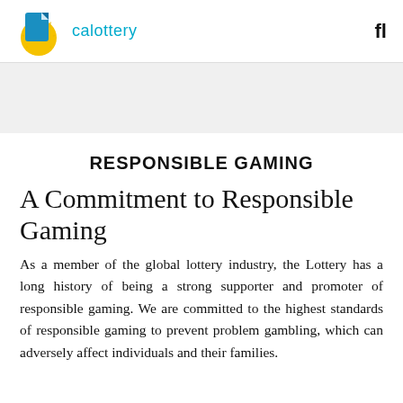[Figure (logo): California Lottery logo with sun and ticket icon, and 'calottery' text in teal, plus a search icon on the right]
[Figure (photo): Light gray banner/hero image area]
RESPONSIBLE GAMING
A Commitment to Responsible Gaming
As a member of the global lottery industry, the Lottery has a long history of being a strong supporter and promoter of responsible gaming. We are committed to the highest standards of responsible gaming to prevent problem gambling, which can adversely affect individuals and their families.